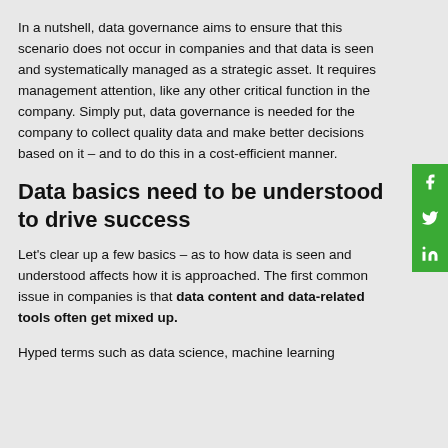In a nutshell, data governance aims to ensure that this scenario does not occur in companies and that data is seen and systematically managed as a strategic asset. It requires management attention, like any other critical function in the company. Simply put, data governance is needed for the company to collect quality data and make better decisions based on it – and to do this in a cost-efficient manner.
Data basics need to be understood to drive success
Let's clear up a few basics – as to how data is seen and understood affects how it is approached. The first common issue in companies is that data content and data-related tools often get mixed up.
Hyped terms such as data science, machine learning